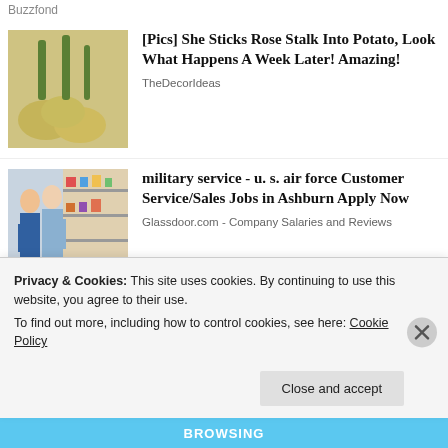Buzzfond
[Figure (photo): Rose stalks stuck into potatoes on a wooden surface]
[Pics] She Sticks Rose Stalk Into Potato, Look What Happens A Week Later! Amazing!
TheDecorIdeas
[Figure (photo): Two people in a store aisle looking at shelves of products]
military service - u. s. air force Customer Service/Sales Jobs in Ashburn Apply Now
Glassdoor.com - Company Salaries and Reviews
[Figure (photo): Partial view of a house exterior]
Privacy & Cookies: This site uses cookies. By continuing to use this website, you agree to their use.
To find out more, including how to control cookies, see here: Cookie Policy
Close and accept
BROWSING